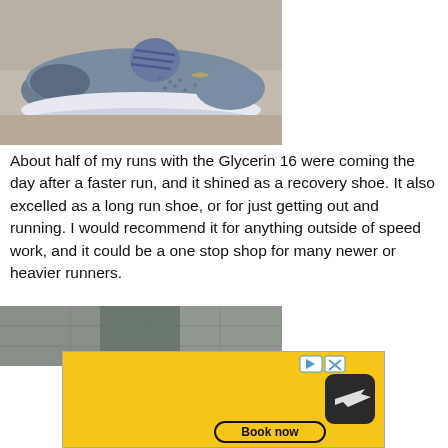[Figure (photo): Blue/grey Brooks Glycerin 16 running shoes placed on a stone/brick surface outdoors]
About half of my runs with the Glycerin 16 were coming the day after a faster run, and it shined as a recovery shoe. It also excelled as a long run shoe, or for just getting out and running. I would recommend it for anything outside of speed work, and it could be a one stop shop for many newer or heavier runners.
[Figure (photo): Partial view of running shoes or outdoor scene, partially obscured by advertisement]
[Figure (other): Yellow advertisement banner with close button (▶ X), a dark rounded square icon with a plane/travel symbol, and a 'Book now' button with rounded border]